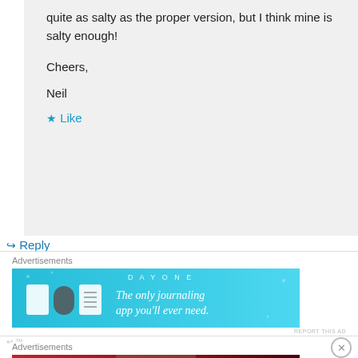quite as salty as the proper version, but I think mine is salty enough!
Cheers,
Neil
Like
Reply
Advertisements
[Figure (other): DayOne advertisement banner - The only journaling app you'll ever need]
REPORT THIS AD
Advertisements
[Figure (other): Macy's advertisement - Kiss Boring Lips Goodbye, Shop Now]